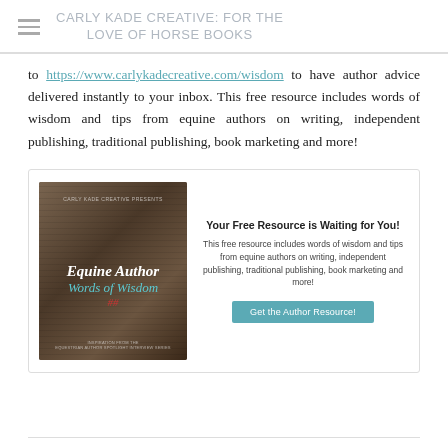CARLY KADE CREATIVE: FOR THE LOVE OF HORSE BOOKS
to https://www.carlykadecreative.com/wisdom to have author advice delivered instantly to your inbox. This free resource includes words of wisdom and tips from equine authors on writing, independent publishing, traditional publishing, book marketing and more!
[Figure (illustration): Promotional box with book cover image for 'Equine Author Words of Wisdom' and call-to-action text 'Your Free Resource is Waiting for You!' with a teal button 'Get the Author Resource!']